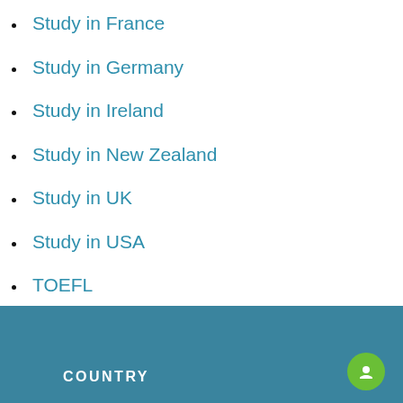Study in France
Study in Germany
Study in Ireland
Study in New Zealand
Study in UK
Study in USA
TOEFL
Uncategorized
COUNTRY